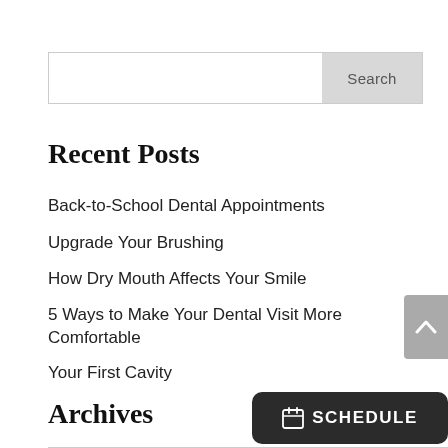[Figure (screenshot): Search bar with text input field and grey Search button]
Recent Posts
Back-to-School Dental Appointments
Upgrade Your Brushing
How Dry Mouth Affects Your Smile
5 Ways to Make Your Dental Visit More Comfortable
Your First Cavity
Archives